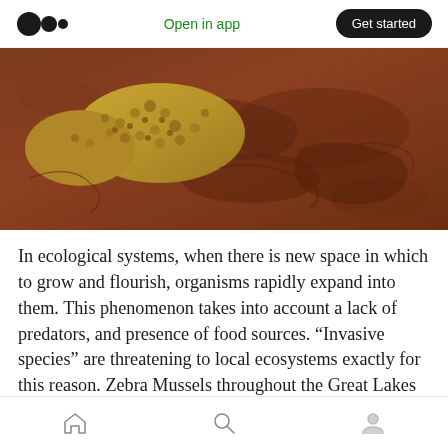Open in app | Get started
[Figure (photo): Close-up photo of a lizard or gecko on reddish-brown rocky soil/ground, showing scaly texture in yellow-brown tones]
In ecological systems, when there is new space in which to grow and flourish, organisms rapidly expand into them. This phenomenon takes into account a lack of predators, and presence of food sources. “Invasive species” are threatening to local ecosystems exactly for this reason. Zebra Mussels throughout the Great Lakes region of the United States compete with native mussels
Home | Search | Profile